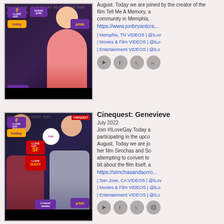[Figure (photo): Video thumbnail showing two people with #ILoveGay and Toronto pride stickers overlaid on dark background]
August. Today we are joined by the creator of the film Tell Me A Memory, a film that explores the LGBTQ+ community in Memphis, Tennessee...
https://www.jonbryantcra...
| Memphis, TN VIDEOS | @ILov... | Movies & Film VIDEOS | @ILo... | Entertainment VIDEOS | @ILo...
[Figure (other): Social media icons: play, facebook, twitter, linkedin]
Cinequest: Genevieve...
July 2022
[Figure (photo): Video thumbnail with two people, #ILoveGay SF sticker, Pink badge, Cinequest badge, on dark background]
Join #ILoveGay Today as we are participating in the upcoming Cinequest in August. Today we are joined by Genevieve and her film Simchas and So... about a family attempting to convert to... we learn a bit about the film itself, a...
https://simchasandsorro...
| San Jose, CA VIDEOS | @ILov... | Movies & Film VIDEOS | @ILo... | Entertainment VIDEOS | @ILo...
[Figure (other): Social media icons: play, facebook, twitter, instagram]